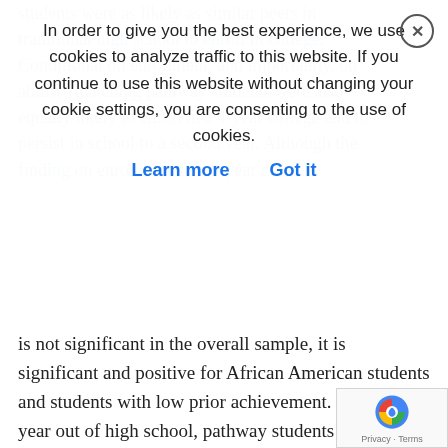students were as likely as similar peers in traditional high schools to enroll in college. Conditional on enrollment, and importantly, on ability (matching pathway students were also equally likely to enroll in a 4-year college and to persist in school to a second year. Although the finding on enrollment in a 4-year college
In order to give you the best experience, we use cookies to analyze traffic to this website. If you continue to use this website without changing your cookie settings, you are consenting to the use of cookies. Learn more   Got it
is not significant in the overall sample, it is significant and positive for African American students and students with low prior achievement. Finally, 1 year out of high school, pathway students were more likely than their nonpathway peers to obtain jobs with benefits such as vacation and sick leave. These results, as well as more detail about the sustainability of the initiative, key district and pathway implementation strategies, and student access and equity regarding pathways are available in this seventh-year evaluation report.